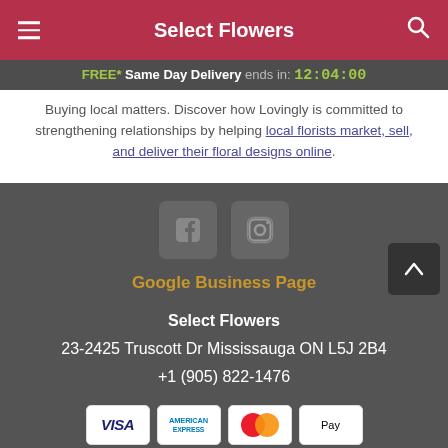Select Flowers
FREE* Same Day Delivery ends in: 12:04:00
Buying local matters. Discover how Lovingly is committed to strengthening relationships by helping local florists market, sell, and deliver their floral designs online.
[Figure (screenshot): Footer section with Facebook and Instagram social icons, Google Business Page link, business address and phone, payment method icons (Visa, American Express, Mastercard, Apple Pay)]
Google Business Page
Select Flowers
23-2425 Truscott Dr Mississauga ON L5J 2B4
+1 (905) 822-1476